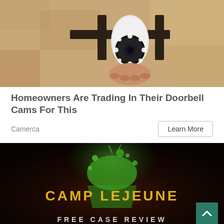[Figure (photo): Photo of a white security/surveillance camera mounted on a metal bracket against a textured beige/tan stucco wall. A hand is installing or adjusting the camera.]
Homeowners Are Trading In Their Doorbell Cams For This
Camerca
[Figure (photo): Dark advertisement image for Camp Lejeune with a green drink/cocktail being poured dramatically, text reading 'CAMP LEJEUNE' in large yellow distressed letters, and 'FREE CASE REVIEW' below.]